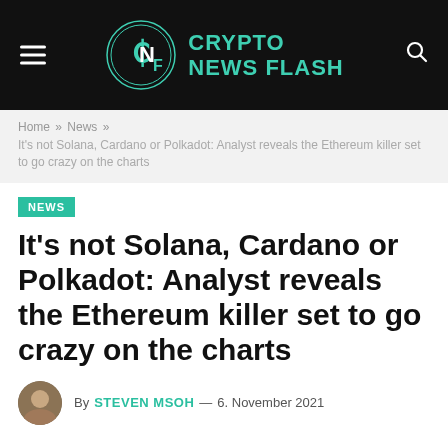CRYPTO NEWS FLASH
Home » News » It's not Solana, Cardano or Polkadot: Analyst reveals the Ethereum killer set to go crazy on the charts
NEWS
It's not Solana, Cardano or Polkadot: Analyst reveals the Ethereum killer set to go crazy on the charts
By STEVEN MSOH — 6. November 2021